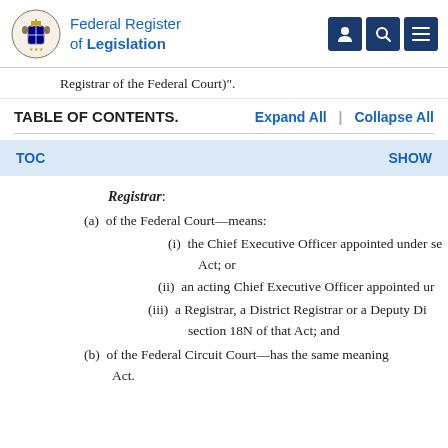Federal Register of Legislation
Registrar of the Federal Court)".
TABLE OF CONTENTS.   Expand All  |  Collapse All
TOC   SHOW
Registrar: (a) of the Federal Court—means: (i) the Chief Executive Officer appointed under se Act; or (ii) an acting Chief Executive Officer appointed ur (iii) a Registrar, a District Registrar or a Deputy Di section 18N of that Act; and (b) of the Federal Circuit Court—has the same meaning Act.